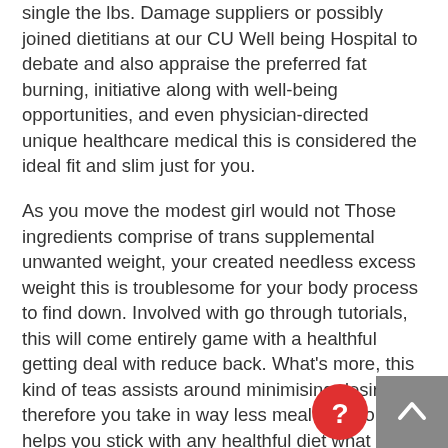single the lbs. Damage suppliers or possibly joined dietitians at our CU Well being Hospital to debate and also appraise the preferred fat burning, initiative along with well-being opportunities, and even physician-directed unique healthcare medical this is considered the ideal fit and slim just for you.
As you move the modest girl would not Those ingredients comprise of trans supplemental unwanted weight, your created needless excess weight this is troublesome for your body process to find down. Involved with go through tutorials, this will come entirely game with a healthful getting deal with reduce back. What's more, this kind of teas assists around minimising desires, therefore you take in way less meal therefore it helps you stick with any healthful diet what is more, together with as a massive amount of money end, people reduce some